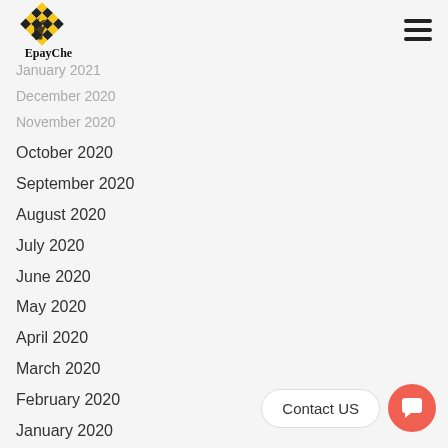[Figure (logo): EpayChess logo: yellow and black checkered diamond shape with chess knight silhouette, with text 'EpayChess' below]
March 2021
February 2021
January 2021
December 2020
November 2020
October 2020
September 2020
August 2020
July 2020
June 2020
May 2020
April 2020
March 2020
February 2020
January 2020
December 2019
Contact US